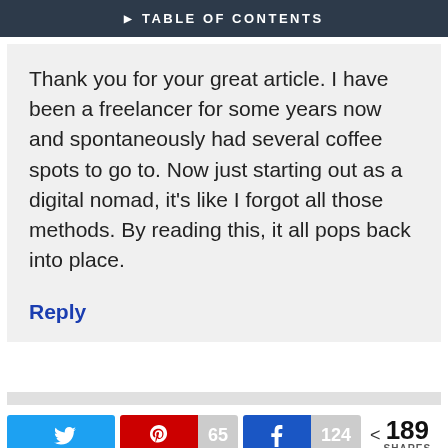▶ TABLE OF CONTENTS
Thank you for your great article. I have been a freelancer for some years now and spontaneously had several coffee spots to go to. Now just starting out as a digital nomad, it's like I forgot all those methods. By reading this, it all pops back into place.
Reply
[Figure (infographic): Social share bar with Twitter button, Pinterest button showing 65, Facebook button showing 124, and total share count of 189 SHARES]